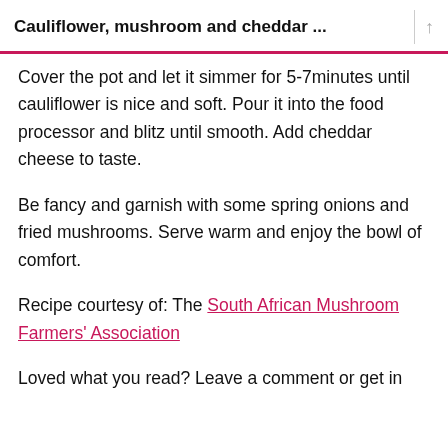Cauliflower, mushroom and cheddar ...
Cover the pot and let it simmer for 5-7minutes until cauliflower is nice and soft. Pour it into the food processor and blitz until smooth. Add cheddar cheese to taste.
Be fancy and garnish with some spring onions and fried mushrooms. Serve warm and enjoy the bowl of comfort.
Recipe courtesy of: The South African Mushroom Farmers’ Association
Loved what you read? Leave a comment or get in